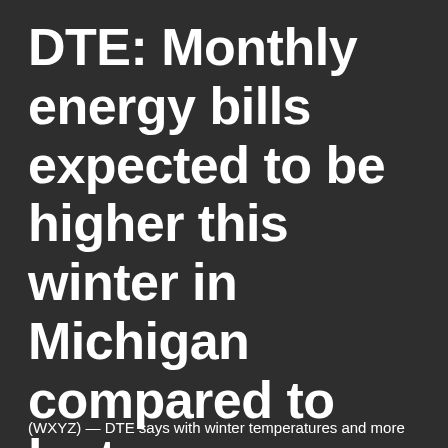DTE: Monthly energy bills expected to be higher this winter in Michigan compared to last year
(WXYZ) — DTE says with winter temperatures and more